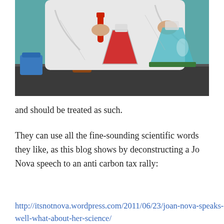[Figure (illustration): Illustration of a scientist in a white lab coat handling laboratory glassware including flasks, beakers, and bottles with red/brown liquids on a dark bench against a teal background.]
and should be treated as such.
They can use all the fine-sounding scientific words they like, as this blog shows by deconstructing a Jo Nova speech to an anti carbon tax rally:
http://itsnotnova.wordpress.com/2011/06/23/joan-nova-speaks-well-what-about-her-science/